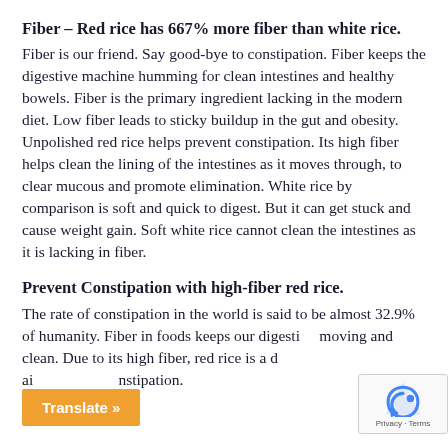Fiber – Red rice has 667% more fiber than white rice.
Fiber is our friend. Say good-bye to constipation. Fiber keeps the digestive machine humming for clean intestines and healthy bowels. Fiber is the primary ingredient lacking in the modern diet. Low fiber leads to sticky buildup in the gut and obesity. Unpolished red rice helps prevent constipation. Its high fiber helps clean the lining of the intestines as it moves through, to clear mucous and promote elimination. White rice by comparison is soft and quick to digest. But it can get stuck and cause weight gain. Soft white rice cannot clean the intestines as it is lacking in fiber.
Prevent Constipation with high-fiber red rice.
The rate of constipation in the world is said to be almost 32.9% of humanity. Fiber in foods keeps our digestion moving and clean. Due to its high fiber, red rice is a great aid in preventing constipation.